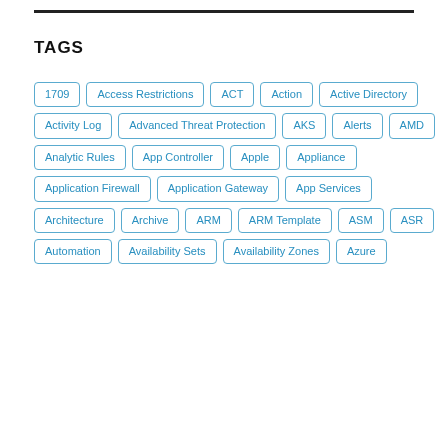TAGS
1709
Access Restrictions
ACT
Action
Active Directory
Activity Log
Advanced Threat Protection
AKS
Alerts
AMD
Analytic Rules
App Controller
Apple
Appliance
Application Firewall
Application Gateway
App Services
Architecture
Archive
ARM
ARM Template
ASM
ASR
Automation
Availability Sets
Availability Zones
Azure